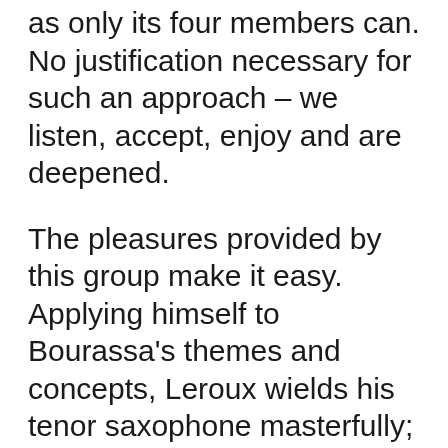as only its four members can. No justification necessary for such an approach – we listen, accept, enjoy and are deepened.
The pleasures provided by this group make it easy. Applying himself to Bourassa's themes and concepts, Leroux wields his tenor saxophone masterfully; he's especially sensitive to attack and dynamics, floating the theme of "5 and Less" (in 5/4, explains Bourassa, " with bars of 3 and 2") gently, but builds to blasting on the darkly epic "Frozen" (which Bourassa